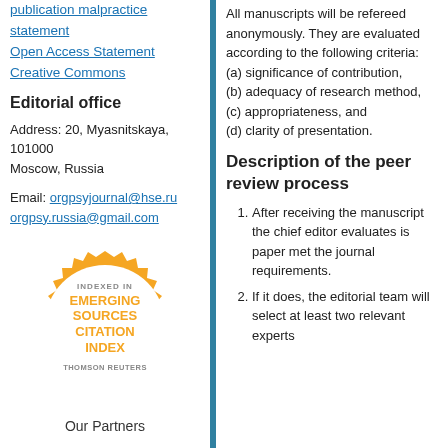publication malpractice statement
Open Access Statement
Creative Commons
Editorial office
Address: 20, Myasnitskaya, 101000 Moscow, Russia
Email: orgpsyjournal@hse.ru
orgpsy.russia@gmail.com
[Figure (logo): Circular badge: Indexed in Emerging Sources Citation Index, Thomson Reuters]
Our Partners
All manuscripts will be refereed anonymously. They are evaluated according to the following criteria:
(a) significance of contribution,
(b) adequacy of research method,
(c) appropriateness, and
(d) clarity of presentation.
Description of the peer review process
After receiving the manuscript the chief editor evaluates is paper met the journal requirements.
If it does, the editorial team will select at least two relevant experts